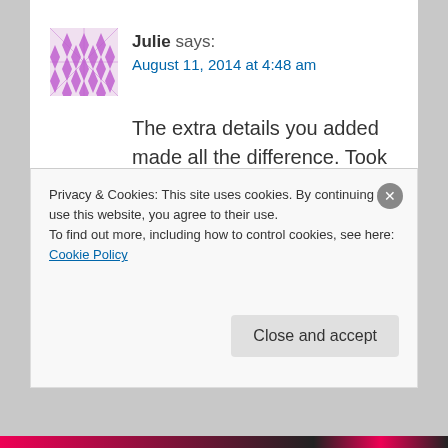Julie says:
August 11, 2014 at 4:48 am
The extra details you added made all the difference. Took it from nice to gorgeous! I am wondering if I would have thought of that and sadly the answer is no 😕 Pinning so I don't forget your brilliant idea!
★ Like
Privacy & Cookies: This site uses cookies. By continuing to use this website, you agree to their use.
To find out more, including how to control cookies, see here: Cookie Policy